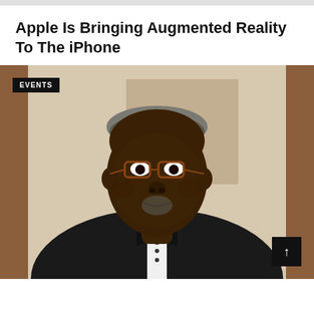Apple Is Bringing Augmented Reality To The iPhone
[Figure (photo): Portrait photo of an elderly Black man wearing glasses, a black tuxedo with bow tie, smiling. An 'EVENTS' badge is overlaid in the top-left corner. A scroll-to-top button is visible in the bottom-right corner.]